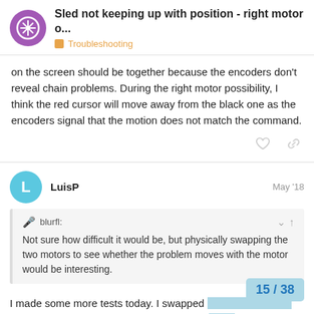Sled not keeping up with position - right motor o... | Troubleshooting
on the screen should be together because the encoders don't reveal chain problems. During the right motor possibility, I think the red cursor will move away from the black one as the encoders signal that the motion does not match the command.
LuisP  May '18
blurfl: Not sure how difficult it would be, but physically swapping the two motors to see whether the problem moves with the motor would be interesting.
I made some more tests today. I swapped the problem seemed to be still on the right the left side, for it would be l to stay with
15 / 38